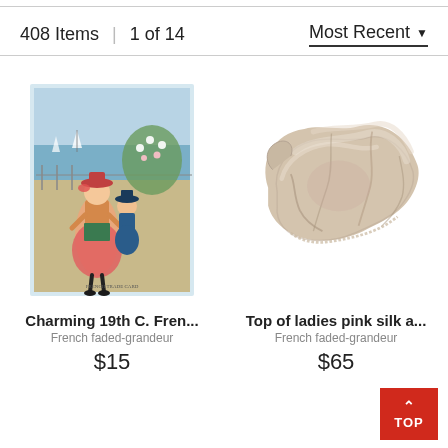408 Items | 1 of 14
Most Recent ▼
[Figure (photo): Vintage 19th century French trade card illustration showing two children in period dress standing outdoors with floral background and sea view]
Charming 19th C. Fren...
French faded-grandeur
$15
[Figure (photo): Top of a ladies pink silk antique garment, crumpled fabric with lace trim visible, photographed on white background]
Top of ladies pink silk a...
French faded-grandeur
$65